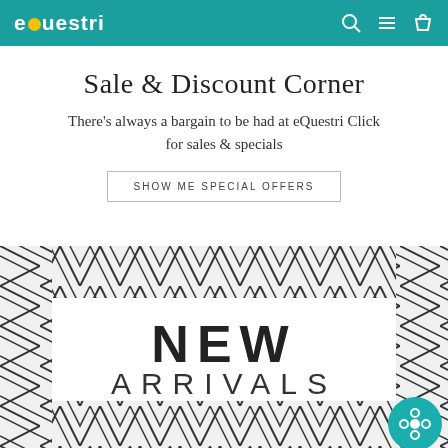eQuestri
Sale & Discount Corner
There's always a bargain to be had at eQuestri Click for sales & specials
SHOW ME SPECIAL OFFERS
[Figure (illustration): New Arrivals banner with geometric black and white chevron/zigzag border pattern surrounding white center with 'NEW ARRIVALS' text. A teal circular button with flower icon in bottom right corner.]